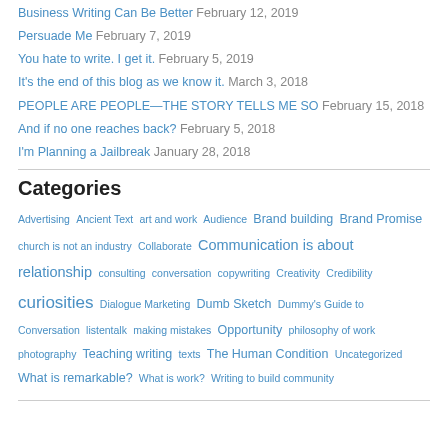Business Writing Can Be Better February 12, 2019
Persuade Me February 7, 2019
You hate to write. I get it. February 5, 2019
It's the end of this blog as we know it. March 3, 2018
PEOPLE ARE PEOPLE—THE STORY TELLS ME SO February 15, 2018
And if no one reaches back? February 5, 2018
I'm Planning a Jailbreak January 28, 2018
Categories
Advertising Ancient Text art and work Audience Brand building Brand Promise church is not an industry Collaborate Communication is about relationship consulting conversation copywriting Creativity Credibility curiosities Dialogue Marketing Dumb Sketch Dummy's Guide to Conversation listentalk making mistakes Opportunity philosophy of work photography Teaching writing texts The Human Condition Uncategorized What is remarkable? What is work? Writing to build community